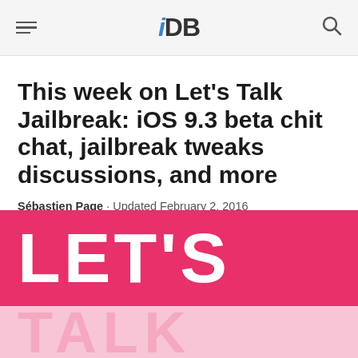iDB
This week on Let's Talk Jailbreak: iOS 9.3 beta chit chat, jailbreak tweaks discussions, and more
Sébastien Page · Updated February 2, 2016
[Figure (illustration): Pink banner image with large white bold text reading LET'S TALK on a hot pink background, with a reflected TALK text below on a lighter pink gradient]